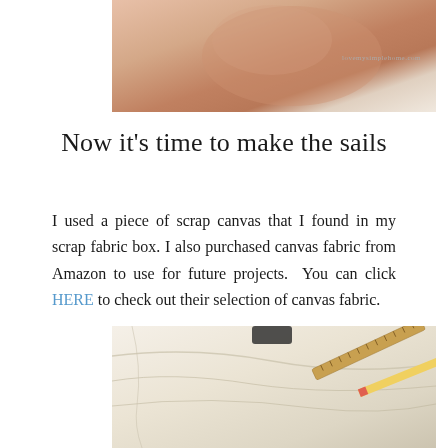[Figure (photo): Close-up photo of a decorative frame or sailboat element with a warm pinkish-beige tone, watermark text 'lovemysimplehome.com' visible]
Now it's time to make the sails
I used a piece of scrap canvas that I found in my scrap fabric box. I also purchased canvas fabric from Amazon to use for future projects.  You can click HERE to check out their selection of canvas fabric.
[Figure (photo): Photo of off-white canvas fabric laid flat with a wooden ruler and pencil on top]